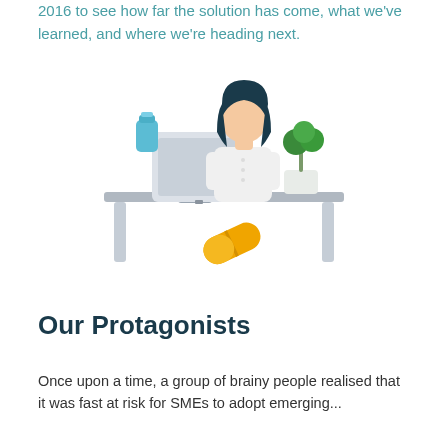2016 to see how far the solution has come, what we've learned, and where we're heading next.
[Figure (illustration): Flat illustration of a pharmacist or healthcare professional standing behind a desk with a computer monitor. A blue bottle is on the left, a green plant/tree in a white pot is on the right, and a yellow pill/capsule floats in the foreground below the desk.]
Our Protagonists
Once upon a time, a group of brainy people realised that it was fast at risk for SMEs to adopt emerging...